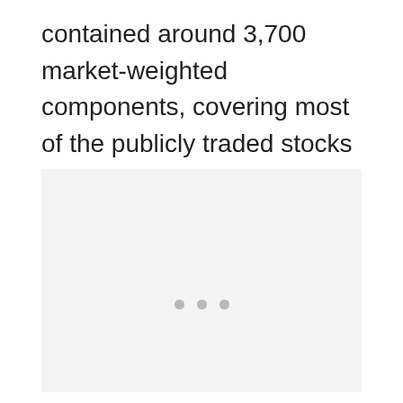contained around 3,700 market-weighted components, covering most of the publicly traded stocks in the United States.
[Figure (other): A light gray placeholder box with three gray dots centered near the bottom, indicating a loading or empty image/chart area.]